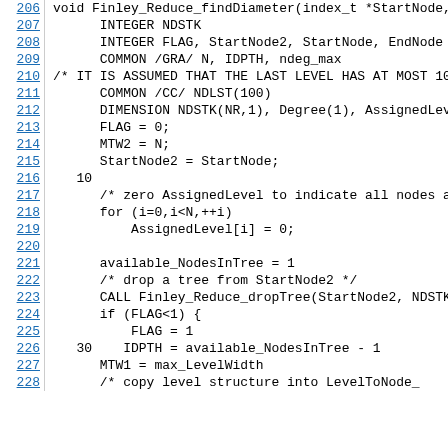[Figure (other): Source code listing showing lines 206-228 of a C/Fortran mixed function Finley_Reduce_findDiameter with line numbers in blue underlined on the left and code in monospace on the right.]